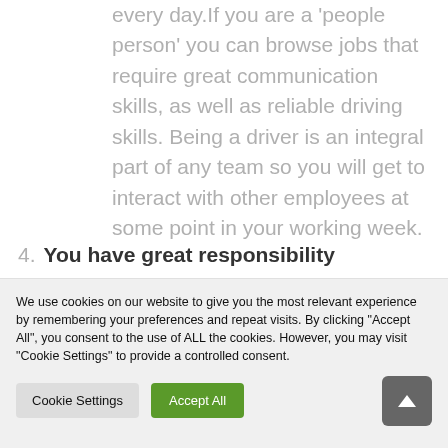every day.If you are a 'people person' you can browse jobs that require great communication skills, as well as reliable driving skills. Being a driver is an integral part of any team so you will get to interact with other employees at some point in your working week.
4. You have great responsibility
We use cookies on our website to give you the most relevant experience by remembering your preferences and repeat visits. By clicking "Accept All", you consent to the use of ALL the cookies. However, you may visit "Cookie Settings" to provide a controlled consent.